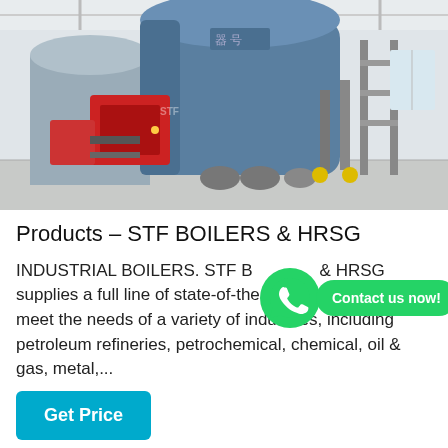[Figure (photo): Industrial boiler and HRSG equipment in a large white warehouse/facility. A large blue cylindrical boiler unit is visible with red burner components, pipes, valves, and scaffolding structure on the right side. The floor is light-colored concrete and the ceiling is white with structural beams.]
Products – STF BOILERS & HRSG
INDUSTRIAL BOILERS. STF BOILERS & HRSG supplies a full line of state-of-the art industrial boilers to meet the needs of a variety of industries, including petroleum refineries, petrochemical, chemical, oil & gas, metal,...
[Figure (other): WhatsApp contact button overlay: green WhatsApp icon circle with white phone/chat logo, followed by green rounded rectangle button reading 'Contact us now!']
Get Price